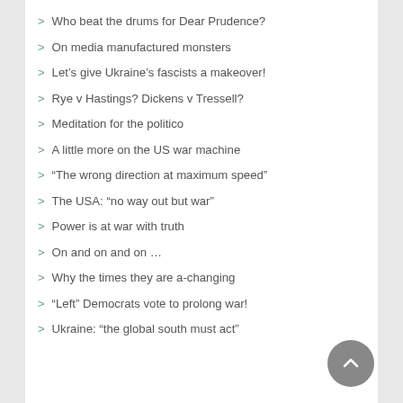Who beat the drums for Dear Prudence?
On media manufactured monsters
Let's give Ukraine's fascists a makeover!
Rye v Hastings? Dickens v Tressell?
Meditation for the politico
A little more on the US war machine
“The wrong direction at maximum speed”
The USA: “no way out but war”
Power is at war with truth
On and on and on …
Why the times they are a-changing
“Left” Democrats vote to prolong war!
Ukraine: “the global south must act”